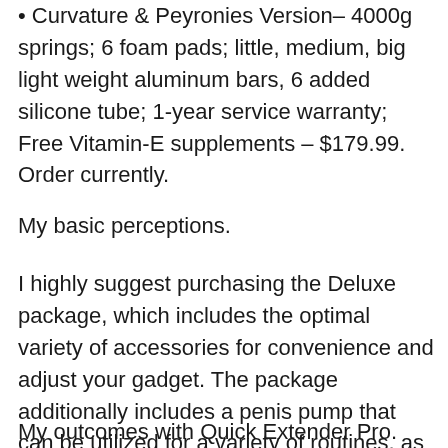• Curvature & Peyronies Version– 4000g springs; 6 foam pads; little, medium, big light weight aluminum bars, 6 added silicone tube; 1-year service warranty; Free Vitamin-E supplements – $179.99. Order currently.
My basic perceptions.
I highly suggest purchasing the Deluxe package, which includes the optimal variety of accessories for convenience and adjust your gadget. The package additionally includes a penis pump that can be utilized for a variety of routines, as well as the extender itself is available in a wooden box.
My outcomes with Quick Extender Pro.